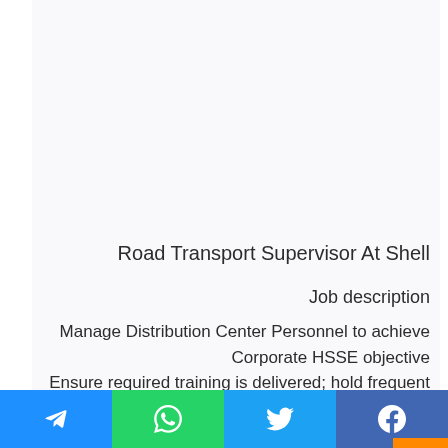Road Transport Supervisor At Shell
Job description
Manage Distribution Center Personnel to achieve Corporate HSSE objective
Ensure required training is delivered; hold frequent safety meetings, review local and company results. Observe/assess individuals